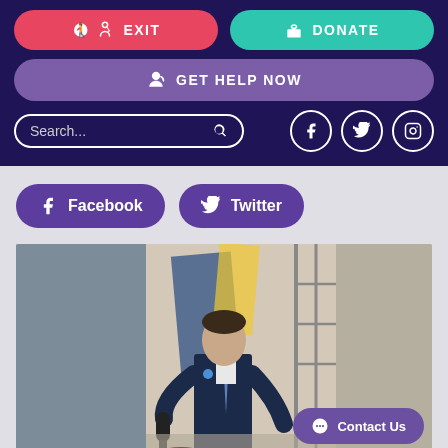[Figure (screenshot): Website navigation bar with EXIT (red), DONATE (teal), GET HELP NOW (purple) buttons, search bar, and social media icons (Facebook, Twitter, Instagram) on dark navy background]
[Figure (screenshot): Social share buttons: Facebook and Twitter, both purple rounded pills]
[Figure (photo): Man in dark suit speaking at a podium or event, holding a microphone, with banners in the background. A purple Contact Us button overlays the bottom-right corner.]